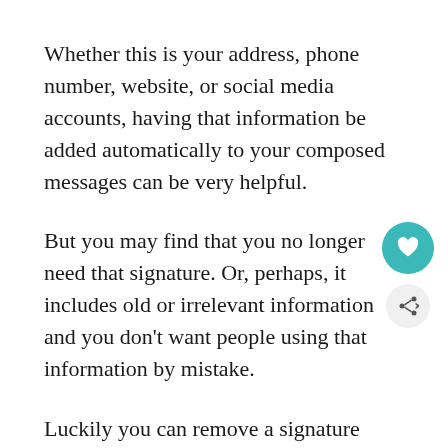Whether this is your address, phone number, website, or social media accounts, having that information be added automatically to your composed messages can be very helpful.
But you may find that you no longer need that signature. Or, perhaps, it includes old or irrelevant information and you don't want people using that information by mistake.
Luckily you can remove a signature from Gmail in a manner similar to how it was originally added in the first place. Plus you can do this without actually deleting the signature information in case this is only a temporary measure and you intend to use the signature